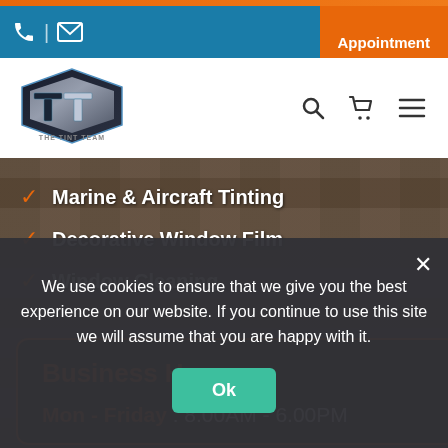Appointment
[Figure (logo): The Tint Team metallic TT shield logo]
Marine & Aircraft Tinting
Decorative Window Film
Window Cleaning
Business Hours
Mon - Friday : 8.00AM - 6.00PM
We use cookies to ensure that we give you the best experience on our website. If you continue to use this site we will assume that you are happy with it.